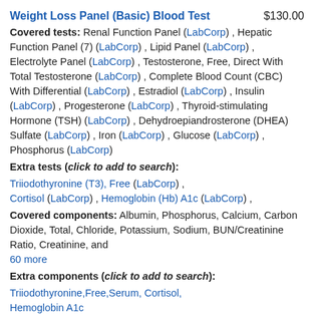Weight Loss Panel (Basic) Blood Test    $130.00
Covered tests: Renal Function Panel (LabCorp) , Hepatic Function Panel (7) (LabCorp) , Lipid Panel (LabCorp) , Electrolyte Panel (LabCorp) , Testosterone, Free, Direct With Total Testosterone (LabCorp) , Complete Blood Count (CBC) With Differential (LabCorp) , Estradiol (LabCorp) , Insulin (LabCorp) , Progesterone (LabCorp) , Thyroid-stimulating Hormone (TSH) (LabCorp) , Dehydroepiandrosterone (DHEA) Sulfate (LabCorp) , Iron (LabCorp) , Glucose (LabCorp) , Phosphorus (LabCorp)
Extra tests (click to add to search):
Triiodothyronine (T3), Free (LabCorp) , Cortisol (LabCorp) , Hemoglobin (Hb) A1c (LabCorp) ,
Covered components: Albumin, Phosphorus, Calcium, Carbon Dioxide, Total, Chloride, Potassium, Sodium, BUN/Creatinine Ratio, Creatinine, and 60 more
Extra components (click to add to search):
Triiodothyronine,Free,Serum, Cortisol, Hemoglobin A1c